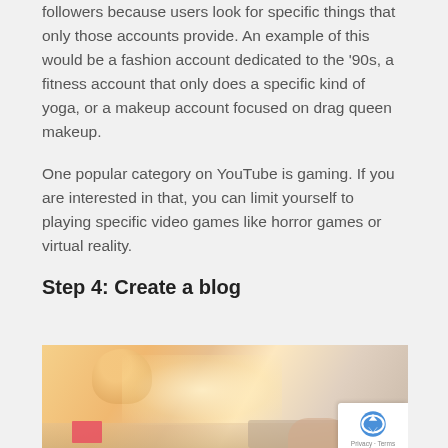followers because users look for specific things that only those accounts provide. An example of this would be a fashion account dedicated to the '90s, a fitness account that only does a specific kind of yoga, or a makeup account focused on drag queen makeup.
One popular category on YouTube is gaming. If you are interested in that, you can limit yourself to playing specific video games like horror games or virtual reality.
Step 4: Create a blog
[Figure (photo): A photo of a desk scene with a coffee cup on the left, sticky notes, a keyboard, and hands typing, with a warm glowing light in the center. A reCAPTCHA badge appears in the bottom-right corner.]